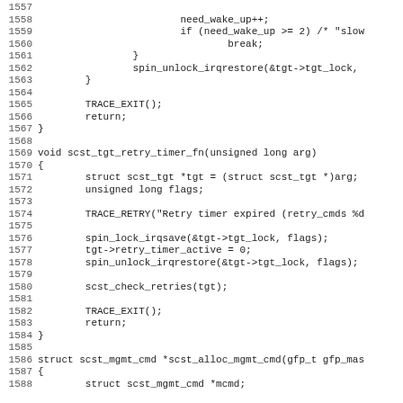Source code listing lines 1557-1588, showing C functions scst_tgt_retry_timer_fn and scst_alloc_mgmt_cmd